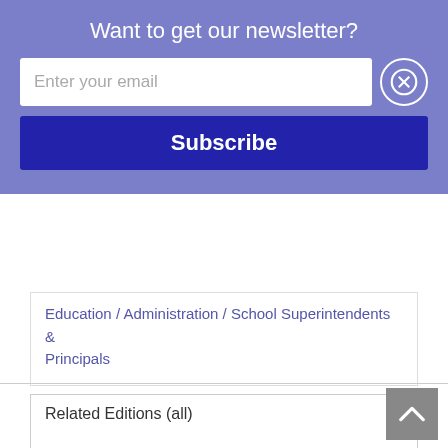Want to get our newsletter?
Enter your email
Subscribe
Education / Administration / School Superintendents & Principals
Related Editions (all)
Digital Audiobook (Libro.fm)
Kobo eBook (April 29th, 2019): $1.99
Compact Disc (April 30th, 2019): $30.00
Compact Disc (April 30th, 2019): $49.99